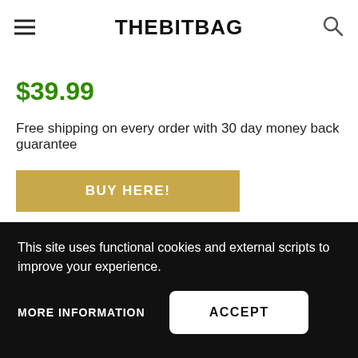THEBITBAG
$39.99
Free shipping on every order with 30 day money back guarantee
BUY HERE!
[Figure (illustration): Sale badge icon - a yellow circular badge with a price tag shape inside, labeled SALE]
This site uses functional cookies and external scripts to improve your experience.
MORE INFORMATION
ACCEPT